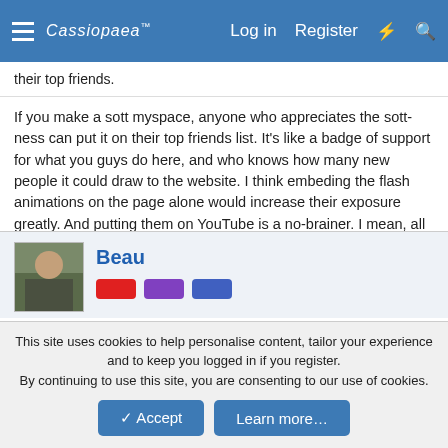Cassiopaea | Log in | Register
their top friends.
If you make a sott myspace, anyone who appreciates the sott-ness can put it on their top friends list. It's like a badge of support for what you guys do here, and who knows how many new people it could draw to the website. I think embeding the flash animations on the page alone would increase their exposure greatly. And putting them on YouTube is a no-brainer. I mean, all this could be done in a few hours and could generate potentially thousands of hits to SOTT, id say go for it.
Beau
This site uses cookies to help personalise content, tailor your experience and to keep you logged in if you register.
By continuing to use this site, you are consenting to our use of cookies.